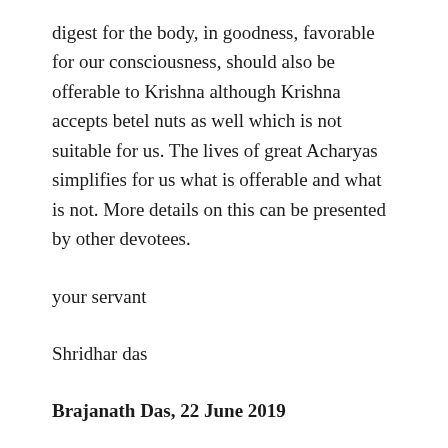digest for the body, in goodness, favorable for our consciousness, should also be offerable to Krishna although Krishna accepts betel nuts as well which is not suitable for us. The lives of great Acharyas simplifies for us what is offerable and what is not. More details on this can be presented by other devotees.
your servant
Shridhar das
Brajanath Das, 22 June 2019
Hare Krishna Suzanne Mataji,